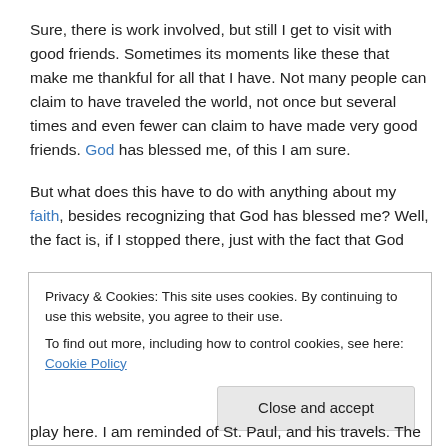Sure, there is work involved, but still I get to visit with good friends. Sometimes its moments like these that make me thankful for all that I have. Not many people can claim to have traveled the world, not once but several times and even fewer can claim to have made very good friends. God has blessed me, of this I am sure.
But what does this have to do with anything about my faith, besides recognizing that God has blessed me? Well, the fact is, if I stopped there, just with the fact that God
Privacy & Cookies: This site uses cookies. By continuing to use this website, you agree to their use.
To find out more, including how to control cookies, see here: Cookie Policy
play here. I am reminded of St. Paul, and his travels. The